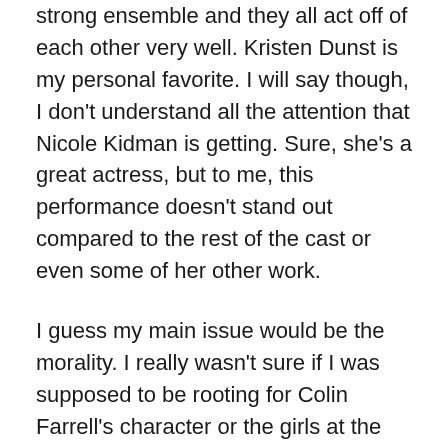strong ensemble and they all act off of each other very well. Kristen Dunst is my personal favorite. I will say though, I don't understand all the attention that Nicole Kidman is getting. Sure, she's a great actress, but to me, this performance doesn't stand out compared to the rest of the cast or even some of her other work.
I guess my main issue would be the morality. I really wasn't sure if I was supposed to be rooting for Colin Farrell's character or the girls at the boarding school. There's also the fact that the film's ending left me feeling empty and confused as to what I was supposed to take away from the film.
And I guess that both of those points were intentional, but overall, this movie just didn't do it for me. I would be open to a second viewing, seeing how short it is. But this film